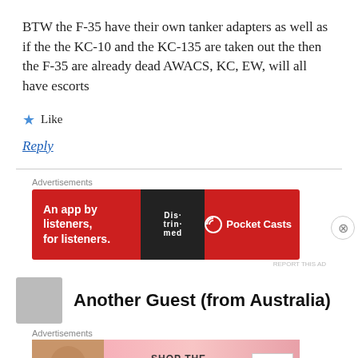BTW the F-35 have their own tanker adapters as well as if the the KC-10 and the KC-135 are taken out the then the F-35 are already dead AWACS, KC, EW, will all have escorts
★ Like
Reply
[Figure (other): Advertisement banner for Pocket Casts app: red background with text 'An app by listeners, for listeners.' and phone image with Pocket Casts logo]
Another Guest (from Australia)
[Figure (other): Advertisement banner for Victoria's Secret: pink background with woman's face, VS logo, 'SHOP THE COLLECTION' text and 'SHOP NOW' button]